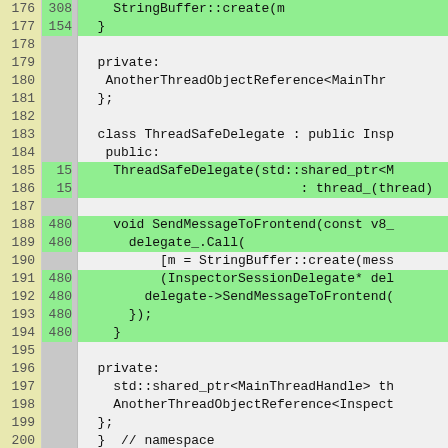[Figure (screenshot): Code diff viewer showing C++ source code lines 176-202 with line numbers on the left (yellow background), diff line numbers in the middle (gray background), and code content on the right. Green highlighted rows indicate added/changed lines. The code shows a ThreadSafeDelegate class with methods including SendMessageToFrontend.]